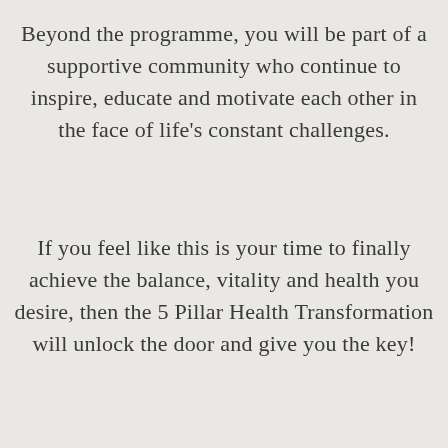Beyond the programme, you will be part of a supportive community who continue to inspire, educate and motivate each other in the face of life's constant challenges.
If you feel like this is your time to finally achieve the balance, vitality and health you desire, then the 5 Pillar Health Transformation will unlock the door and give you the key!